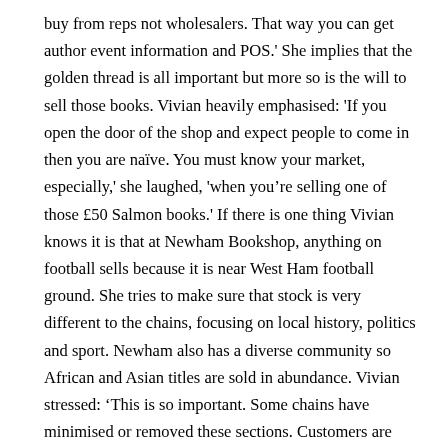buy from reps not wholesalers. That way you can get author event information and POS.' She implies that the golden thread is all important but more so is the will to sell those books. Vivian heavily emphasised: 'If you open the door of the shop and expect people to come in then you are naïve. You must know your market, especially,' she laughed, 'when you're selling one of those £50 Salmon books.' If there is one thing Vivian knows it is that at Newham Bookshop, anything on football sells because it is near West Ham football ground. She tries to make sure that stock is very different to the chains, focusing on local history, politics and sport. Newham also has a diverse community so African and Asian titles are sold in abundance. Vivian stressed: 'This is so important. Some chains have minimised or removed these sections. Customers are sensitive as to how their booksellers perceive their reading habits. They want advice, more than just retail.' It seems that now publishers are slowly waking up to the fact that if they don't look after the 'indies', then they will lose out. Vivian